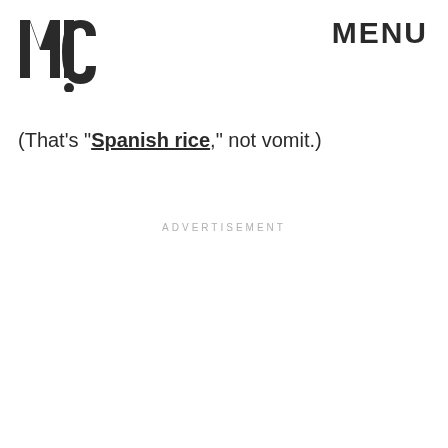MIC  MENU
(That's "Spanish rice," not vomit.)
ADVERTISEMENT